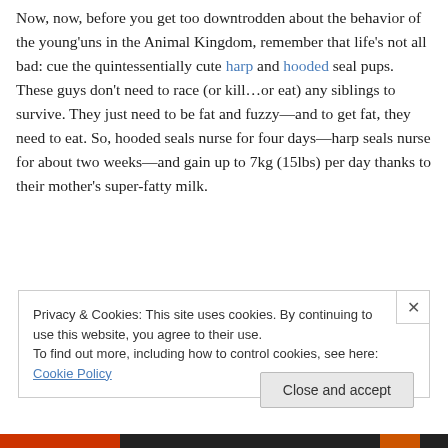Now, now, before you get too downtrodden about the behavior of the young'uns in the Animal Kingdom, remember that life's not all bad: cue the quintessentially cute harp and hooded seal pups. These guys don't need to race (or kill…or eat) any siblings to survive. They just need to be fat and fuzzy—and to get fat, they need to eat. So, hooded seals nurse for four days—harp seals nurse for about two weeks—and gain up to 7kg (15lbs) per day thanks to their mother's super-fatty milk.
Privacy & Cookies: This site uses cookies. By continuing to use this website, you agree to their use. To find out more, including how to control cookies, see here: Cookie Policy
Close and accept